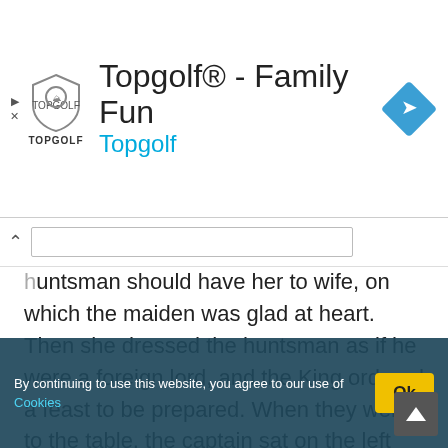[Figure (screenshot): Topgolf advertisement banner with shield logo, 'Topgolf® - Family Fun' title, blue 'Topgolf' subtitle, and a blue navigation diamond icon on the right]
huntsman should have her to wife, on which the maiden was glad at heart. Then she dressed the huntsman as if he were a foreign lord, and the King ordered a feast to be prepared. When they went to the table, the captain sat on the left side of the King's daughter, but the huntsman was on the right, and the captain thought he was a foreign lord who had come on a visit. When they had eaten and drunk, the King said to the captain that he would set before him something which he must guess. "Supposing any one said that he had killed the three giants and he
By continuing to use this website, you agree to our use of Cookies